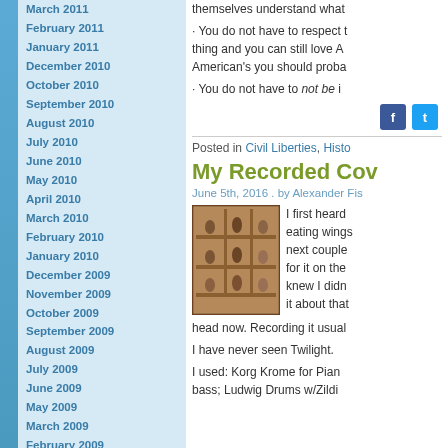March 2011
February 2011
January 2011
December 2010
October 2010
September 2010
August 2010
July 2010
June 2010
May 2010
April 2010
March 2010
February 2010
January 2010
December 2009
November 2009
October 2009
September 2009
August 2009
July 2009
June 2009
May 2009
March 2009
February 2009
January 2009
December 2008
November 2008
October 2008
August 2008
July 2008
· You do not have to respect t... thing and you can still love A... American's you should proba...
· You do not have to not be i...
Posted in Civil Liberties, Histo...
My Recorded Cov...
June 5th, 2016 . by Alexander Fis...
[Figure (photo): A wooden shelf unit with small bird figurines arranged in compartments]
I first heard... eating wings... next couple... for it on the... knew I didn... it about that... head now. Recording it usual...
I have never seen Twilight.
I used: Korg Krome for Pian... bass; Ludwig Drums w/Zildi...